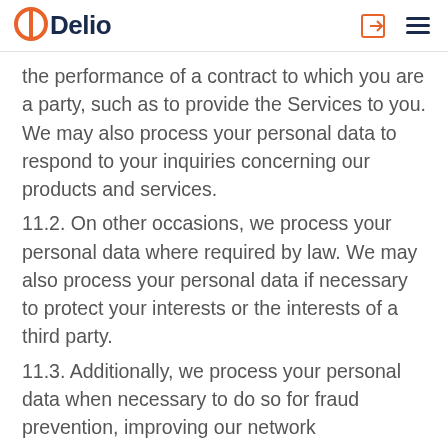Delio
the performance of a contract to which you are a party, such as to provide the Services to you. We may also process your personal data to respond to your inquiries concerning our products and services.
11.2. On other occasions, we process your personal data where required by law. We may also process your personal data if necessary to protect your interests or the interests of a third party.
11.3. Additionally, we process your personal data when necessary to do so for fraud prevention, improving our network